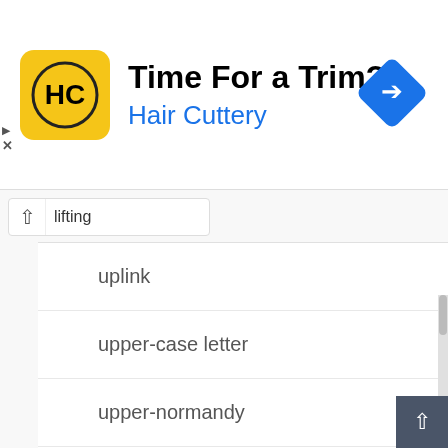[Figure (illustration): Hair Cuttery advertisement banner with yellow logo featuring HC initials, text 'Time For a Trim?' and 'Hair Cuttery' in blue, and a blue navigation diamond icon on the right]
uplifting
uplink
upper-case letter
upper-normandy
upper avon
upper avon river
upper balcony